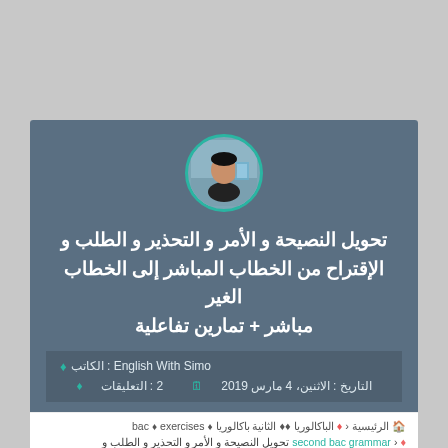[Figure (photo): Circular profile photo of a person sitting at a desk, with teal border]
تحويل النصيحة و الأمر و التحذير و الطلب و الإقتراح من الخطاب المباشر إلى الخطاب الغير مباشر + تمارين تفاعلية
الكاتب : English With Simo
التاريخ : الاثنين، 4 مارس 2019   التعليقات : 2
الرئيسية > الباكالوريا > الثانية باكالوريا > exercises > bac
second bac grammar < تحويل النصيحة و الأمر و التحذير و الطلب و